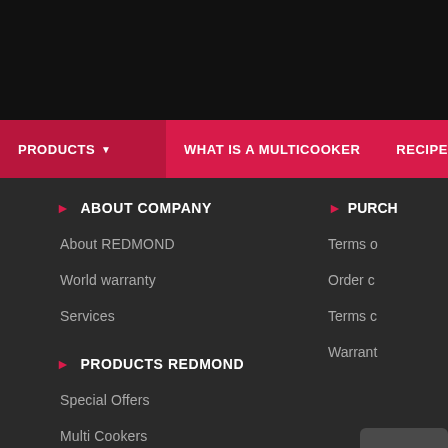PRODUCTS ▼  WHAT IS A MULTICOOKER  RECIPES
ABOUT COMPANY
About REDMOND
World warranty
Services
PRODUCTS REDMOND
Special Offers
Multi Cookers
REDMOND Smart Home
PURCH... Terms o... Order c... Terms c... Warrant...
REDMOND
Products